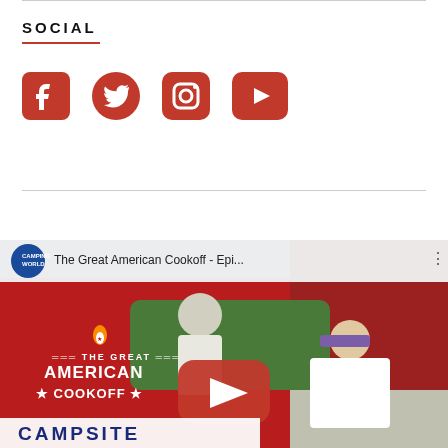SOCIAL
[Figure (infographic): Social media icons: Facebook, Twitter, Instagram, YouTube — all in red]
[Figure (screenshot): YouTube video thumbnail for 'The Great American Cookoff - Epi...' by Camping World channel, showing two people cooking outdoors with THE GREAT AMERICAN COOKOFF and CAMPSITE text overlaid]